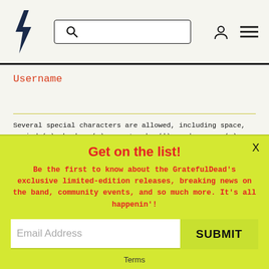[Figure (logo): Grateful Dead lightning bolt logo in dark blue/navy, zigzag bolt shape]
Username
Several special characters are allowed, including space, period (.), hyphen (-), apostrophe ('), underscore (_), and the @ sign.
Public Profile Info (Optional)
Get on the list!
Be the first to know about the GratefulDead's exclusive limited-edition releases, breaking news on the band, community events, and so much more. It's all happenin'!
Email Address
SUBMIT
Terms